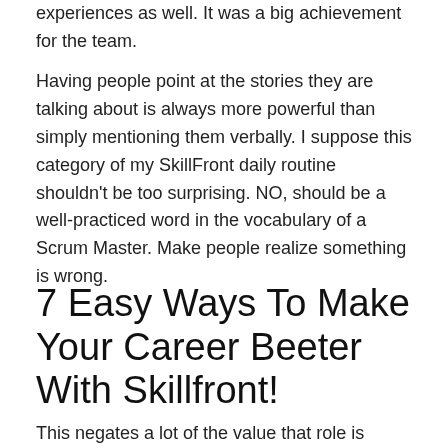experiences as well. It was a big achievement for the team.
Having people point at the stories they are talking about is always more powerful than simply mentioning them verbally. I suppose this category of my SkillFront daily routine shouldn't be too surprising. NO, should be a well-practiced word in the vocabulary of a Scrum Master. Make people realize something is wrong.
7 Easy Ways To Make Your Career Beeter With Skillfront!
This negates a lot of the value that role is